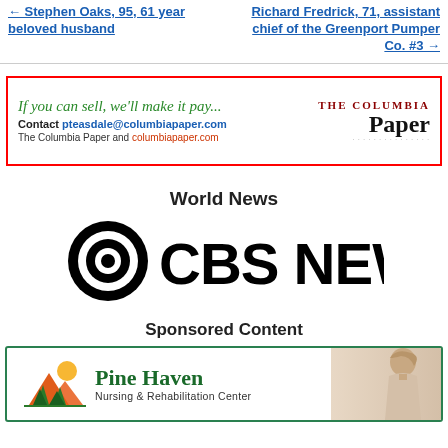← Stephen Oaks, 95, 61 year beloved husband
Richard Fredrick, 71, assistant chief of the Greenport Pumper Co. #3 →
[Figure (advertisement): The Columbia Paper advertisement: 'If you can sell, we'll make it pay... Contact pteasdale@columbiapaper.com The Columbia Paper and columbiapaper.com' with The Columbia Paper logo]
World News
[Figure (logo): CBS News logo with eye symbol and bold CBS NEWS text]
Sponsored Content
[Figure (advertisement): Pine Haven Nursing & Rehabilitation Center advertisement with logo featuring trees and sun, and a person in background]